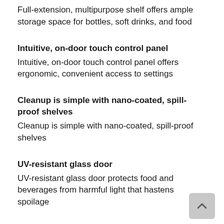Full-extension, multipurpose shelf offers ample storage space for bottles, soft drinks, and food
Intuitive, on-door touch control panel
Intuitive, on-door touch control panel offers ergonomic, convenient access to settings
Cleanup is simple with nano-coated, spill-proof shelves
Cleanup is simple with nano-coated, spill-proof shelves
UV-resistant glass door
UV-resistant glass door protects food and beverages from harmful light that hastens spoilage
Magnetic door seals
Magnetic door seals lock in cold air to ensure freshness and provide superior energy efficiency